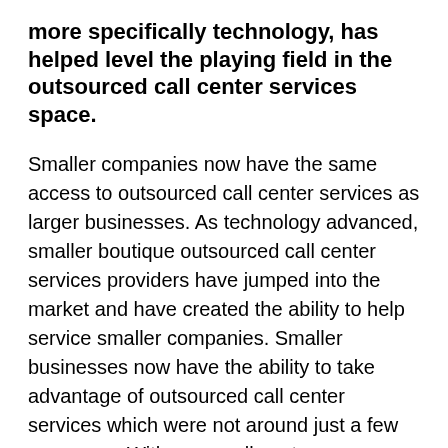more specifically technology, has helped level the playing field in the outsourced call center services space.
Smaller companies now have the same access to outsourced call center services as larger businesses. As technology advanced, smaller boutique outsourced call center services providers have jumped into the market and have created the ability to help service smaller companies. Smaller businesses now have the ability to take advantage of outsourced call center services which were not around just a few years ago. With more call center outsourcing companies using cloud services, it is now a more simple process to have outsourced call center services used in a more transparent manner. Live call monitoring, QA calibrations, real time data entry and reporting